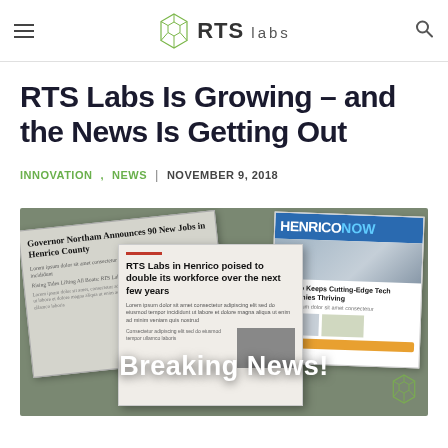RTS labs
RTS Labs Is Growing – and the News Is Getting Out
INNOVATION, NEWS | NOVEMBER 9, 2018
[Figure (photo): News collage showing multiple newspaper clippings about RTS Labs including headlines: 'Governor Northam Announces 90 New Jobs in Henrico County', 'RTS Labs in Henrico poised to double its workforce over the next few years', and a HenricoNow website screenshot. A large 'Breaking News!' text overlay appears on the image.]